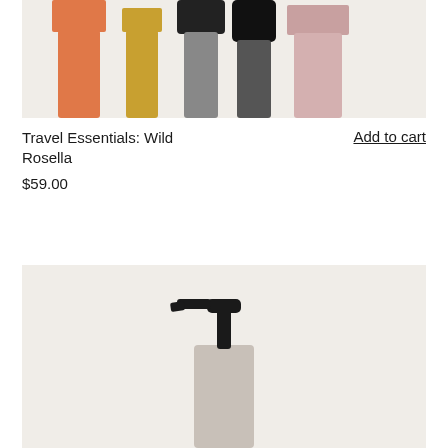[Figure (photo): Top portion of product photo showing travel-sized bottles with orange, gold, black, and pink caps on a light beige background]
Travel Essentials: Wild Rosella
$59.00
Add to cart
[Figure (photo): Product photo showing a black pump dispenser bottle on a light beige background, cropped to show the pump top portion]